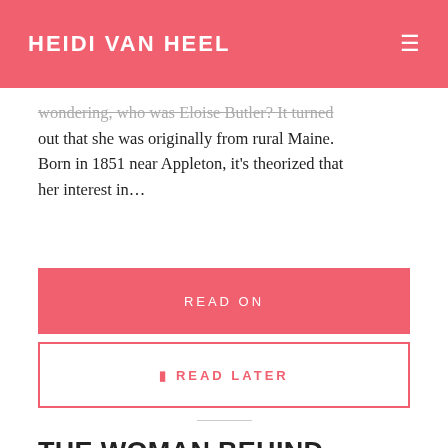HEIDI VAN HEEL
wondering, who was Eloise Butler? It turned out that she was originally from rural Maine. Born in 1851 near Appleton, it's theorized that her interest in…
READ ON
READ LATER
THE WOMAN BEHIND HENRY SCHOOLCRAFT